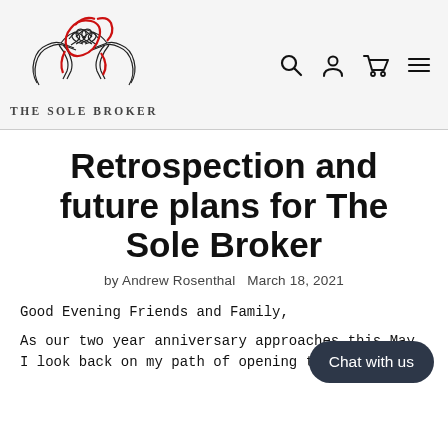[Figure (logo): The Sole Broker logo: two hands in a handshake with red decorative script overlay, black and white illustration]
THE SOLE BROKER
Retrospection and future plans for The Sole Broker
by Andrew Rosenthal   March 18, 2021
Good Evening Friends and Family,
As our two year anniversary approaches this May, I look back on my path of opening two stores and